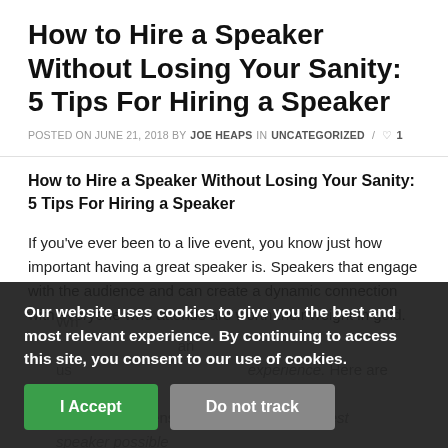How to Hire a Speaker Without Losing Your Sanity: 5 Tips For Hiring a Speaker
POSTED ON JUNE 21, 2018 BY JOE HEAPS IN UNCATEGORIZED / ♡ 1
How to Hire a Speaker Without Losing Your Sanity: 5 Tips For Hiring a Speaker
If you've ever been to a live event, you know just how important having a great speaker is. Speakers that engage with the audience and can create a dynamic connection with everyone who attends are worth their weight in gold.
When you're planning an event, the speaker you choose can make or break the entire experience. By hiring the right speaker, you can ensure that you have the best speaker possible for your event and simplify the process with your speaker and save you time and potential frustration.
Our website uses cookies to give you the best and most relevant experience. By continuing to access this site, you consent to our use of cookies.